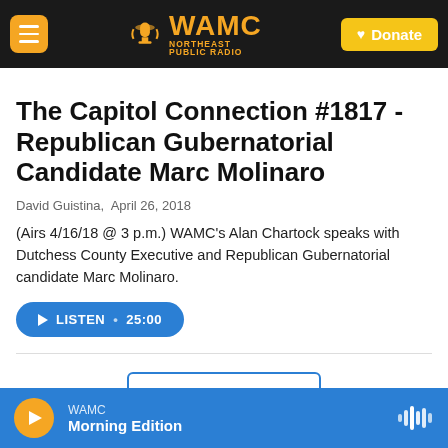[Figure (screenshot): WAMC Northeast Public Radio website header with hamburger menu button, WAMC logo, and yellow Donate button]
The Capitol Connection #1817 - Republican Gubernatorial Candidate Marc Molinaro
David Guistina,  April 26, 2018
(Airs 4/16/18 @ 3 p.m.) WAMC's Alan Chartock speaks with Dutchess County Executive and Republican Gubernatorial candidate Marc Molinaro.
[Figure (screenshot): Blue listen button with play icon showing LISTEN • 25:00]
[Figure (screenshot): Load More button with blue border]
[Figure (screenshot): Audio player bar at bottom showing WAMC Morning Edition with orange play button]